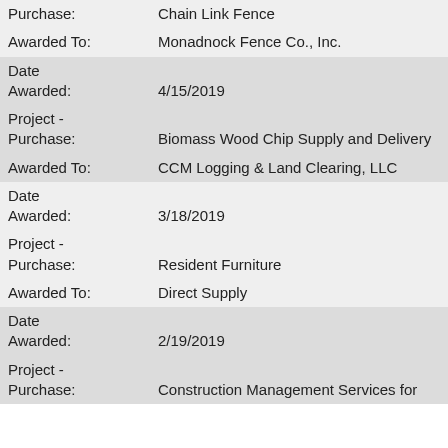| Field | Value |
| --- | --- |
| Purchase: | Chain Link Fence |
| Awarded To: | Monadnock Fence Co., Inc. |
| Date Awarded: | 4/15/2019 |
| Project - Purchase: | Biomass Wood Chip Supply and Delivery |
| Awarded To: | CCM Logging & Land Clearing, LLC |
| Date Awarded: | 3/18/2019 |
| Project - Purchase: | Resident Furniture |
| Awarded To: | Direct Supply |
| Date Awarded: | 2/19/2019 |
| Project - Purchase: | Construction Management Services for |